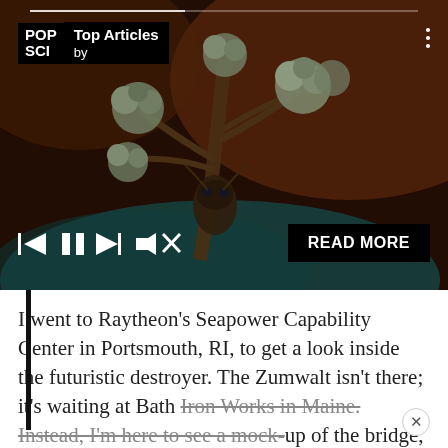[Figure (screenshot): Media player interface showing a Popular Science 'Top Articles' header over a macro photograph of a parasitic fungus (Ophiocordyceps) growing from an insect. Media controls (skip back, pause, skip forward, mute) and a READ MORE button are visible at the bottom of the player.]
I went to Raytheon's Seapower Capability Center in Portsmouth, RI, to get a look inside the futuristic destroyer. The Zumwalt isn't there; it's waiting at Bath Iron Works in Maine. Instead, I'm here to see a mock-up of the bridge, the command center where sailors